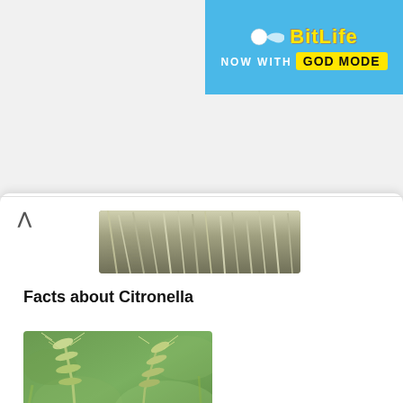[Figure (screenshot): BitLife advertisement banner with blue background showing 'BitLife NOW WITH GOD MODE' text]
[Figure (photo): Close-up photo of citronella grass with thin spiky white-green blades shown from below]
Facts about Citronella
[Figure (photo): Close-up photo of annual ryegrass with green seed heads/spikes against blurred green background]
Facts about Annual Ryegrass